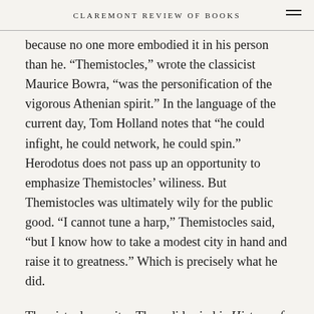CLAREMONT REVIEW OF BOOKS
because no one more embodied it in his person than he. “Themistocles,” wrote the classicist Maurice Bowra, “was the personification of the vigorous Athenian spirit.” In the language of the current day, Tom Holland notes that “he could infight, he could network, he could spin.” Herodotus does not pass up an opportunity to emphasize Themistocles’ wiliness. But Themistocles was ultimately wily for the public good. “I cannot tune a harp,” Themistocles said, “but I know how to take a modest city in hand and raise it to greatness.” Which is precisely what he did.
Themistocles, writes Thucydides in his History of the Peloponnesian War, “could look into the unknown and